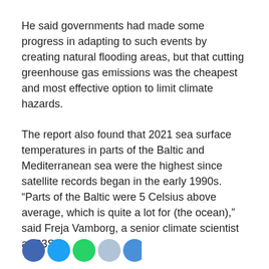He said governments had made some progress in adapting to such events by creating natural flooding areas, but that cutting greenhouse gas emissions was the cheapest and most effective option to limit climate hazards.
The report also found that 2021 sea surface temperatures in parts of the Baltic and Mediterranean sea were the highest since satellite records began in the early 1990s. “Parts of the Baltic were 5 Celsius above average, which is quite a lot for (the ocean),” said Freja Vamborg, a senior climate scientist at C3S.
(Reporting by Gloria Dickie and Kate Abnett; Editing by Alison Williams)
[Figure (other): Row of social media sharing icon circles at bottom of page (blue, teal, green, light blue, blue)]